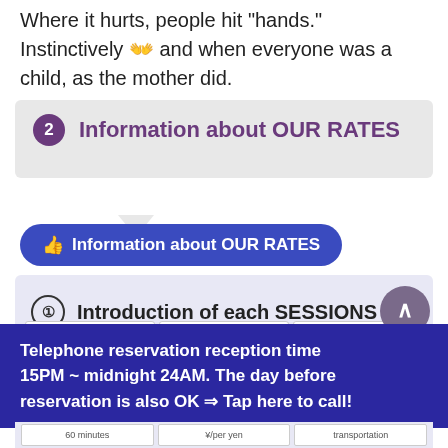Where it hurts, people hit "hands." Instinctively 👐 and when everyone was a child, as the mother did.
❷  Information about OUR RATES
👍 Information about OUR RATES
① Introduction of each SESSIONS
Telephone reservation reception time 15PM ~ midnight 24AM. The day before reservation is also OK ⇒ Tap here to call!